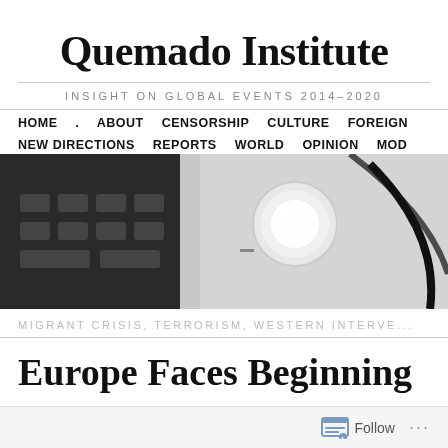Quemado Institute
INSIGHT ON GLOBAL EVENTS 2014–2020
HOME . ABOUT CENSORSHIP CULTURE FOREIGN NEW DIRECTIONS REPORTS WORLD OPINION MODE
[Figure (photo): Black and white close-up photo showing what appears to be a keyboard and a circular object/lens]
MIGRANT CRISIS, TERRORISM, WESTERN INTERVE...
Europe Faces Beginning